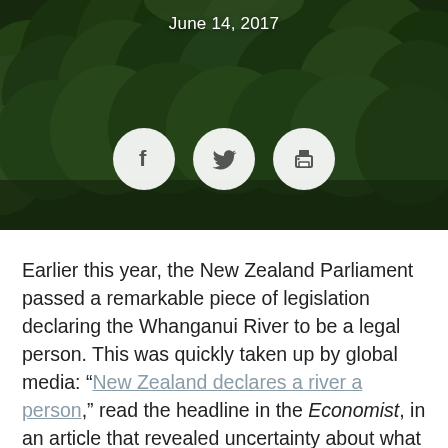[Figure (photo): Aerial view of dense forest/tree canopy with dark green trees, serving as hero background image]
June 14, 2017
[Figure (infographic): Three social sharing icon circles: Facebook (f), Twitter (bird), and Print (printer) icons on white circular backgrounds over the forest photo]
Earlier this year, the New Zealand Parliament passed a remarkable piece of legislation declaring the Whanganui River to be a legal person. This was quickly taken up by global media: “New Zealand declares a river a person,” read the headline in the Economist, in an article that revealed uncertainty about what such legal recognition meant. Was it another quirky example from Downunder or a radical and effective form of environmental protection? The legislation was almost immediately taken up by Indian